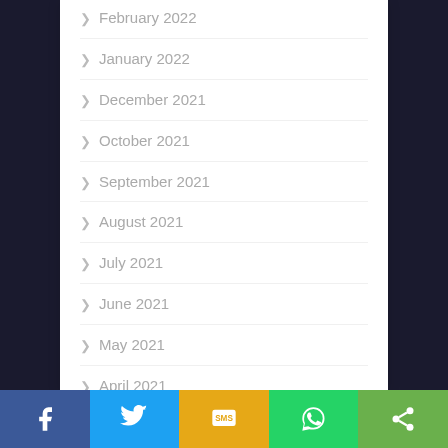February 2022
January 2022
December 2021
October 2021
September 2021
August 2021
July 2021
June 2021
May 2021
April 2021
March 2021
February 2021